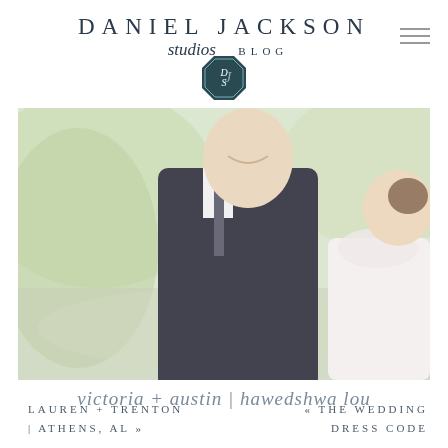DANIEL JACKSON studios BLOG
[Figure (logo): DSJ monogram badge in teal/dark green octagonal frame]
[Figure (photo): Wedding couple close together smiling, groom in dark suit with tie, bride in lace dress, outdoor blurred green background]
victoria + austin | hawedshwa lou
LAUREN + TRENTON | ATHENS, AL »
« THE WEDDING DRESS CODE